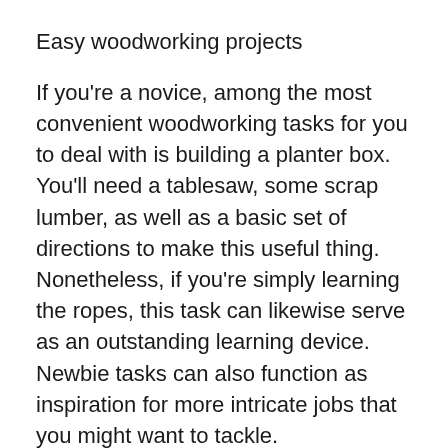Easy woodworking projects
If you're a novice, among the most convenient woodworking tasks for you to deal with is building a planter box. You'll need a tablesaw, some scrap lumber, as well as a basic set of directions to make this useful thing. Nonetheless, if you're simply learning the ropes, this task can likewise serve as an outstanding learning device. Newbie tasks can also function as inspiration for more intricate jobs that you might want to tackle.
Infant furnishings is among the easiest woodworking jobs. A great deal of parents spend a great deal of money on baby items.